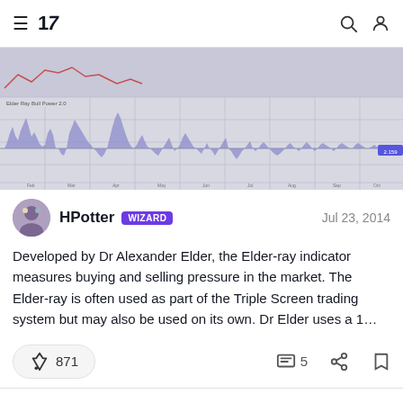TradingView navigation bar with hamburger menu, logo '17', search and user icons
[Figure (continuous-plot): TradingView chart screenshot showing Elder-ray indicator oscillator with blue/purple filled area plot against a grey grid background. The oscillator fluctuates above and below a baseline across a long time period (approximately 2013-2014). The upper portion shows a price candlestick chart partially cut off. Values on the right axis visible but not precisely readable.]
HPotter WIZARD Jul 23, 2014
Developed by Dr Alexander Elder, the Elder-ray indicator measures buying and selling pressure in the market. The Elder-ray is often used as part of the Triple Screen trading system but may also be used on its own. Dr Elder uses a 1…